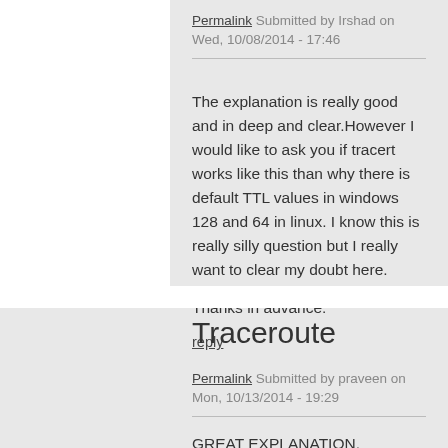Permalink Submitted by Irshad on Wed, 10/08/2014 - 17:46
The explanation is really good and in deep and clear.However I would like to ask you if tracert works like this than why there is default TTL values in windows 128 and 64 in linux. I know this is really silly question but I really want to clear my doubt here.
Thanks in advance.
reply
Traceroute
Permalink Submitted by praveen on Mon, 10/13/2014 - 19:29
GREAT EXPLANATION.